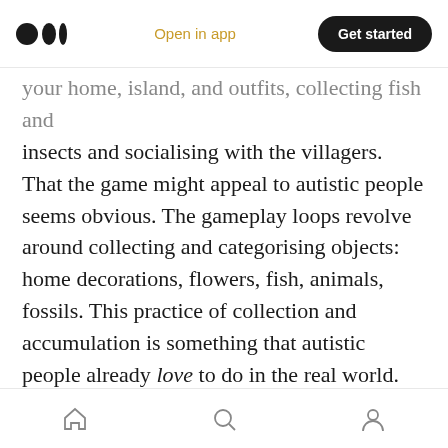Medium logo | Open in app | Get started
your home, island, and outfits, collecting fish and insects and socialising with the villagers. That the game might appeal to autistic people seems obvious. The gameplay loops revolve around collecting and categorising objects: home decorations, flowers, fish, animals, fossils. This practice of collection and accumulation is something that autistic people already love to do in the real world. The tried and tested gameplay loops of resource-gathering, building and customisation are shared, along with the capacity for socialising and showing off your creativity online, with 2011 smash-hit Minecraft
Home | Search | Profile